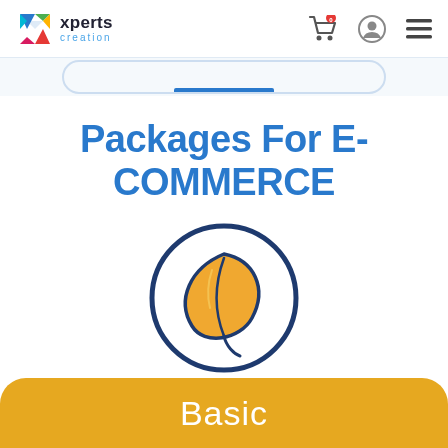xperts creation
Packages For E-COMMERCE
[Figure (illustration): A circular icon with a dark navy blue border showing a golden/amber leaf shape in the center, suggesting a basic/starter package.]
Basic